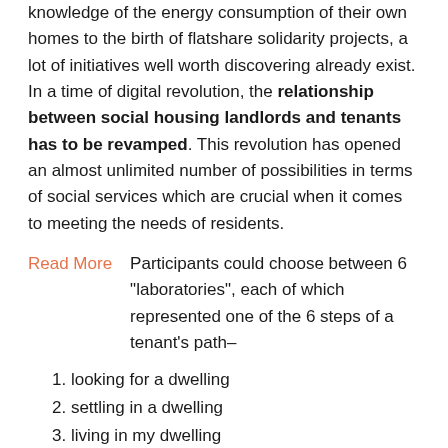knowledge of the energy consumption of their own homes to the birth of flatshare solidarity projects, a lot of initiatives well worth discovering already exist. In a time of digital revolution, the relationship between social housing landlords and tenants has to be revamped. This revolution has opened an almost unlimited number of possibilities in terms of social services which are crucial when it comes to meeting the needs of residents.
Read More    Participants could choose between 6 "laboratories", each of which represented one of the 6 steps of a tenant's path–
looking for a dwelling
settling in a dwelling
living in my dwelling
living in my neighbourhood
my needs and my situation are evolving
leaving my dwelling